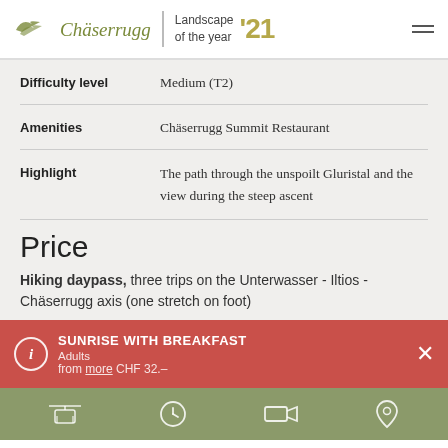Chäserrugg | Landscape of the year '21
|  |  |
| --- | --- |
| Difficulty level | Medium (T2) |
| Amenities | Chäserrugg Summit Restaurant |
| Highlight | The path through the unspoilt Gluristal and the view during the steep ascent |
Price
Hiking daypass, three trips on the Unterwasser - Iltios - Chäserrugg axis (one stretch on foot)
SUNRISE WITH BREAKFAST
Adults
from more CHF 32.–
Navigation bar icons: cable car, clock, video, location